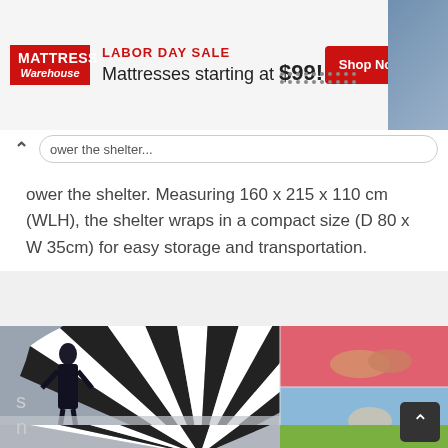[Figure (screenshot): Mattress Warehouse Labor Day Sale advertisement banner: 'LABOR DAY SALE Mattresses starting at $99!' with red Shop Now button]
ower the shelter. Measuring 160 x 215 x 110 cm (WLH), the shelter wraps in a compact size (D 80 x W 35cm) for easy storage and transportation.
[Figure (photo): Grid of product/lifestyle photos: left large image shows a woman in black dress standing next to a large black and white fan; top right shows feet on pink background; bottom right shows a person reclining outdoors with blue sky; lower left shows continuation of fan image with 'snail' text watermark; lower right shows a snail on green grass.]